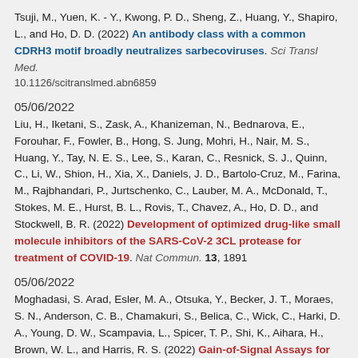Tsuji, M., Yuen, K. - Y., Kwong, P. D., Sheng, Z., Huang, Y., Shapiro, L., and Ho, D. D. (2022) An antibody class with a common CDRH3 motif broadly neutralizes sarbecoviruses. Sci Transl Med. 10.1126/scitranslmed.abn6859
05/06/2022
Liu, H., Iketani, S., Zask, A., Khanizeman, N., Bednarova, E., Forouhar, F., Fowler, B., Hong, S. Jung, Mohri, H., Nair, M. S., Huang, Y., Tay, N. E. S., Lee, S., Karan, C., Resnick, S. J., Quinn, C., Li, W., Shion, H., Xia, X., Daniels, J. D., Bartolo-Cruz, M., Farina, M., Rajbhandari, P., Jurtschenko, C., Lauber, M. A., McDonald, T., Stokes, M. E., Hurst, B. L., Rovis, T., Chavez, A., Ho, D. D., and Stockwell, B. R. (2022) Development of optimized drug-like small molecule inhibitors of the SARS-CoV-2 3CL protease for treatment of COVID-19. Nat Commun. 13, 1891
05/06/2022
Moghadasi, S. Arad, Esler, M. A., Otsuka, Y., Becker, J. T., Moraes, S. N., Anderson, C. B., Chamakuri, S., Belica, C., Wick, C., Harki, D. A., Young, D. W., Scampavia, L., Spicer, T. P., Shi, K., Aihara, H., Brown, W. L., and Harris, R. S. (2022) Gain-of-Signal Assays for Probing Inhibition of SARS-CoV-2 M3CL in Living Cells. mBio. 10.1128/mbio.00784-22